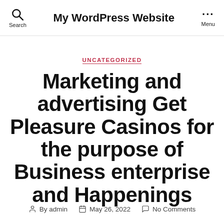My WordPress Website
UNCATEGORIZED
Marketing and advertising Get Pleasure Casinos for the purpose of Business enterprise and Happenings
By admin  May 26, 2022  No Comments